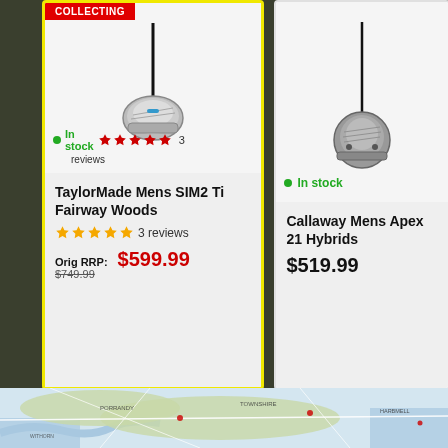[Figure (screenshot): Product listing card for TaylorMade Mens SIM2 Ti Fairway Woods with red 'Collecting' banner, in-stock indicator, 5 red stars (3 reviews), an image of a golf club head, and pricing showing Orig RRP $749.99 sale price $599.99]
In stock
TaylorMade Mens SIM2 Ti Fairway Woods
3 reviews
Orig RRP: $749.99   $599.99
[Figure (screenshot): Product listing card for Callaway Mens Apex 21 Hybrids with in-stock indicator and price $519.99, showing golf hybrid club head image]
In stock
Callaway Mens Apex 21 Hybrids
$519.99
[Figure (map): Street map showing coastal area, possibly Ireland or UK, with roads, water, and place names visible]